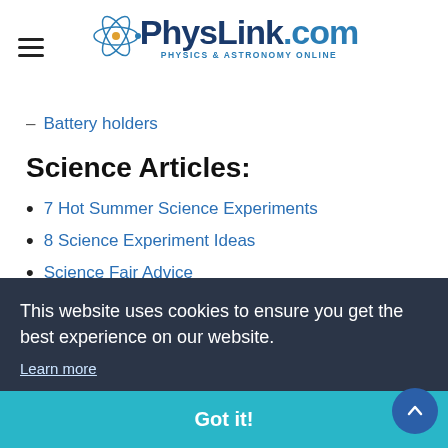PhysLink.com — Physics & Astronomy Online
Battery holders
Science Articles:
7 Hot Summer Science Experiments
8 Science Experiment Ideas
Science Fair Advice
Keeping Kids Interested in Science
This website uses cookies to ensure you get the best experience on our website.
Learn more
Got it!